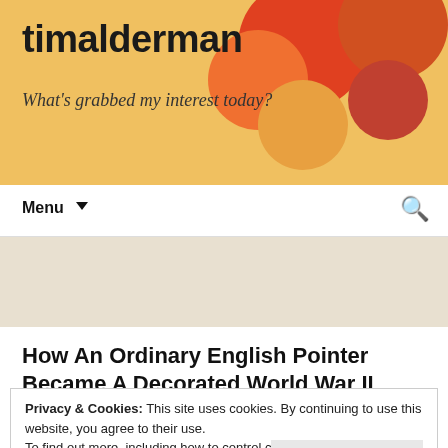timalderman
What's grabbed my interest today?
Monthly Archives: June 2021
How An Ordinary English Pointer Became A Decorated World War II
Privacy & Cookies: This site uses cookies. By continuing to use this website, you agree to their use.
To find out more, including how to control cookies, see here: Cookie Policy